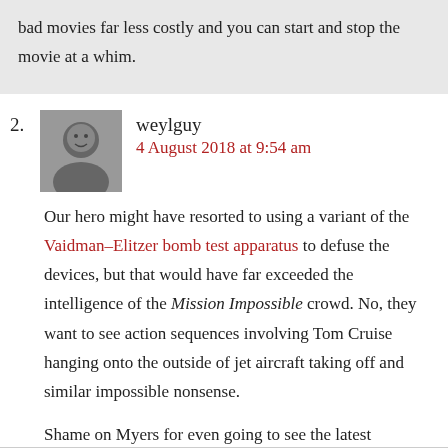bad movies far less costly and you can start and stop the movie at a whim.
weylguy
4 August 2018 at 9:54 am
Our hero might have resorted to using a variant of the Vaidman–Elitzer bomb test apparatus to defuse the devices, but that would have far exceeded the intelligence of the Mission Impossible crowd. No, they want to see action sequences involving Tom Cruise hanging onto the outside of jet aircraft taking off and similar impossible nonsense.
Shame on Myers for even going to see the latest installment of this tired series.